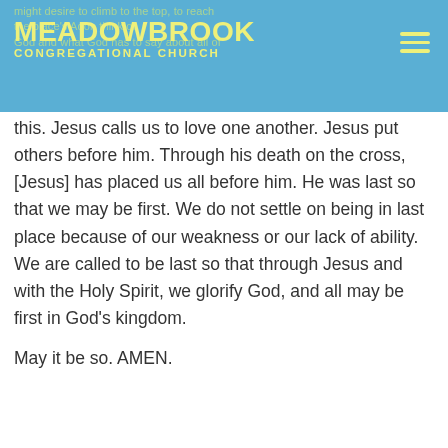MEADOWBROOK CONGREGATIONAL CHURCH
this. Jesus calls us to love one another. Jesus put others before him. Through his death on the cross, [Jesus] has placed us all before him. He was last so that we may be first. We do not settle on being in last place because of our weakness or our lack of ability. We are called to be last so that through Jesus and with the Holy Spirit, we glorify God, and all may be first in God’s kingdom.
May it be so. AMEN.